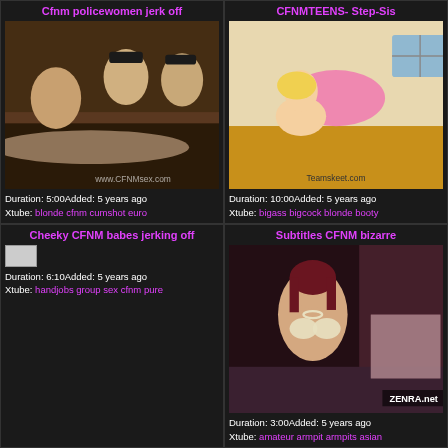Cfnm policewomen jerk off
[Figure (photo): Thumbnail of video: women in police uniforms]
Duration: 5:00Added: 5 years ago
Xtube: blonde cfnm cumshot euro
CFNMTEENS- Step-Sis
[Figure (photo): Thumbnail of video: blonde woman bending over]
Duration: 10:00Added: 5 years ago
Xtube: bigass bigcock blonde booty
Cheeky CFNM babes jerking off
[Figure (photo): Small broken/placeholder image thumbnail]
Duration: 6:10Added: 5 years ago
Xtube: handjobs group sex cfnm pure
Subtitles CFNM bizarre
[Figure (photo): Thumbnail of video: Asian woman in lingerie]
Duration: 3:00Added: 5 years ago
Xtube: amateur armpit armpits asian